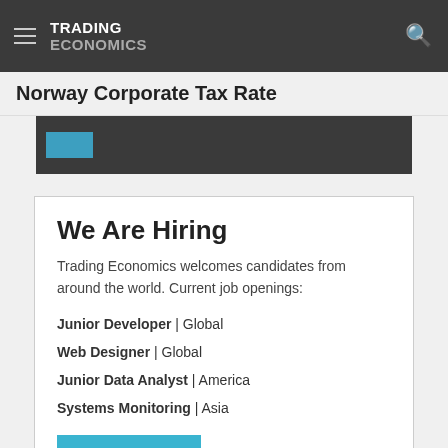TRADING ECONOMICS
Norway Corporate Tax Rate
[Figure (screenshot): Partial chart area with a teal/blue button visible against dark background]
We Are Hiring
Trading Economics welcomes candidates from around the world. Current job openings:
Junior Developer | Global
Web Designer | Global
Junior Data Analyst | America
Systems Monitoring | Asia
Apply Now